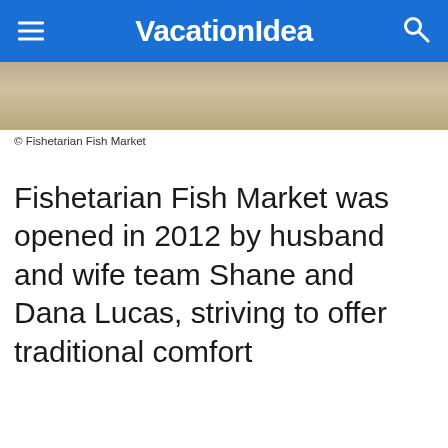VacationIdea
[Figure (photo): Close-up photo of a fish, beige/golden tones, partially cropped at top of page]
© Fishetarian Fish Market
Fishetarian Fish Market was opened in 2012 by husband and wife team Shane and Dana Lucas, striving to offer traditional comfort